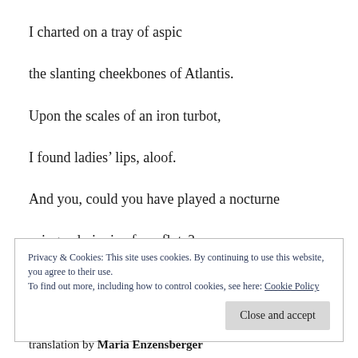I charted on a tray of aspic
the slanting cheekbones of Atlantis.
Upon the scales of an iron turbot,
I found ladies’ lips, aloof.
And you, could you have played a nocturne
using a drainpipe for a flute?
Privacy & Cookies: This site uses cookies. By continuing to use this website, you agree to their use.
To find out more, including how to control cookies, see here: Cookie Policy
translation by Maria Enzensberger